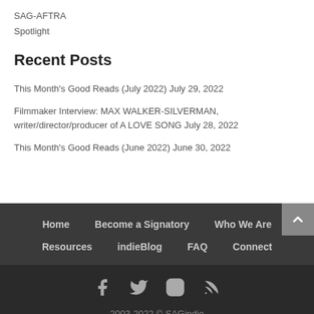SAG-AFTRA
Spotlight
Recent Posts
This Month's Good Reads (July 2022) July 29, 2022
Filmmaker Interview: MAX WALKER-SILVERMAN, writer/director/producer of A LOVE SONG July 28, 2022
This Month's Good Reads (June 2022) June 30, 2022
Home  Become a Signatory  Who We Are  Resources  indieBlog  FAQ  Connect
2003-2022 © SAGindie